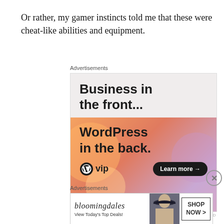Or rather, my gamer instincts told me that these were cheat-like abilities and equipment.
Advertisements
[Figure (infographic): WordPress VIP advertisement. Top section on light gray background reads 'Business in the front...' in large bold black text. Bottom section has orange/peach gradient background with large bold text 'WordPress in the back.' with WordPress VIP logo and 'Learn more →' button.]
REPORT THIS AD
Advertisements
[Figure (infographic): Bloomingdale's advertisement banner. Shows Bloomingdale's logo in italic serif font, text 'View Today's Top Deals!', a woman in a wide brim hat, and a 'SHOP NOW >' button.]
REPORT THIS AD